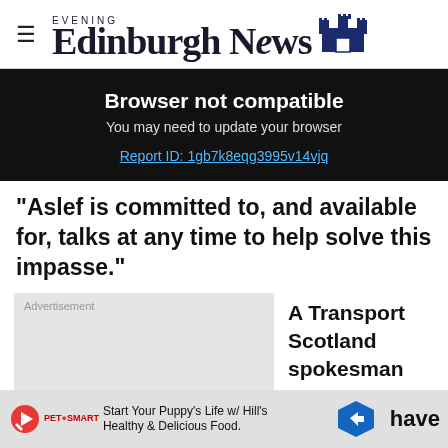Edinburgh Evening News
[Figure (screenshot): Browser not compatible error banner on black background with text: 'Browser not compatible', 'You may need to update your browser', and a link 'Report ID: 1gb7k8eqg3995v14vjq']
"Aslef is committed to, and available for, talks at any time to help solve this impasse."
[Figure (screenshot): Advertisement placeholder box with label 'Advertisement' in grey]
A Transport Scotland spokesman said: "Rail
[Figure (screenshot): Bottom advertisement bar: PetSmart ad with text 'Start Your Puppy’s Life w/ Hill’s Healthy & Delicious Food.' with navigation arrow sign and partial text 'have']